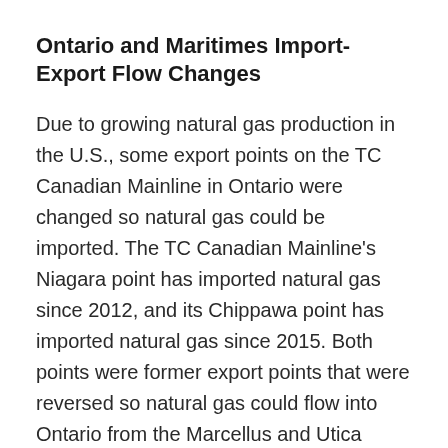Ontario and Maritimes Import-Export Flow Changes
Due to growing natural gas production in the U.S., some export points on the TC Canadian Mainline in Ontario were changed so natural gas could be imported. The TC Canadian Mainline's Niagara point has imported natural gas since 2012, and its Chippawa point has imported natural gas since 2015. Both points were former export points that were reversed so natural gas could flow into Ontario from the Marcellus and Utica shales of the Appalachian Basin.